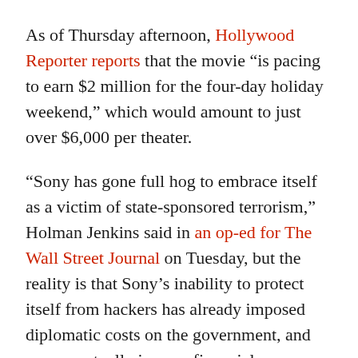As of Thursday afternoon, Hollywood Reporter reports that the movie “is pacing to earn $2 million for the four-day holiday weekend,” which would amount to just over $6,000 per theater.
“Sony has gone full hog to embrace itself as a victim of state-sponsored terrorism,” Holman Jenkins said in an op-ed for The Wall Street Journal on Tuesday, but the reality is that Sony’s inability to protect itself from hackers has already imposed diplomatic costs on the government, and may eventually impose financial ones, as well.